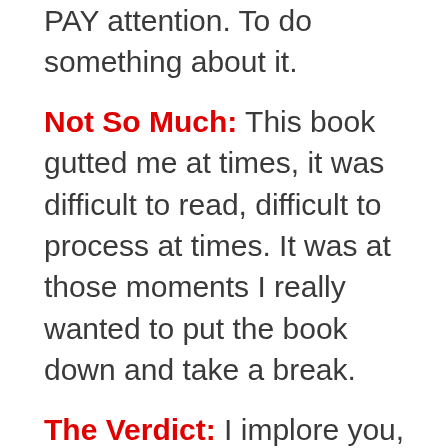PAY attention. To do something about it.
Not So Much: This book gutted me at times, it was difficult to read, difficult to process at times. It was at those moments I really wanted to put the book down and take a break.
The Verdict: I implore you, whether you are a Christian or not, give this book a chance. Let it